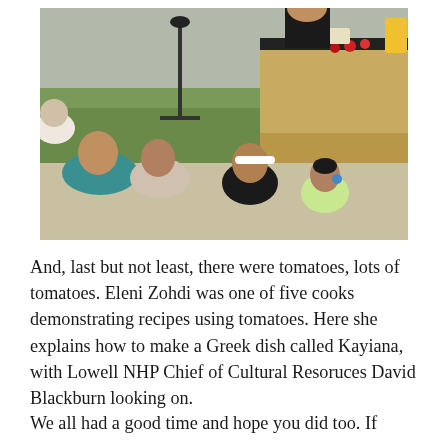[Figure (photo): Outdoor cooking demonstration scene. Several adults and children are seated watching a presenter at a kitchen station with a wooden counter. A microphone stand is visible. The setting appears to be outdoors with a stone wall in the background.]
And, last but not least, there were tomatoes, lots of tomatoes. Eleni Zohdi was one of five cooks demonstrating recipes using tomatoes. Here she explains how to make a Greek dish called Kayiana, with Lowell NHP Chief of Cultural Resoruces David Blackburn looking on.
We all had a good time and hope you did too. If